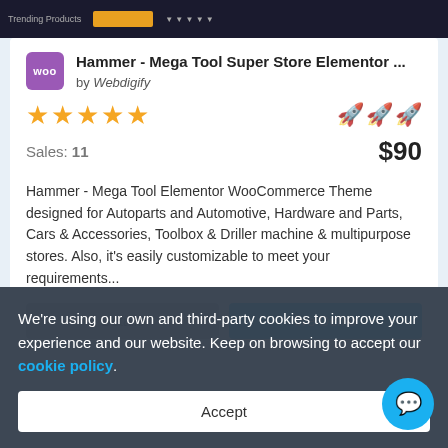[Figure (screenshot): Top navigation bar strip from a theme store website, dark background with tabs and yellow highlight]
Hammer - Mega Tool Super Store Elementor ...
by Webdigify
[Figure (other): Five gold star rating icons and three rocket emoji icons]
Sales: 11
$90
Hammer - Mega Tool Elementor WooCommerce Theme designed for Autoparts and Automotive, Hardware and Parts, Cars & Accessories, Toolbox & Driller machine & multipurpose stores. Also, it's easily customizable to meet your requirements...
Details
live Demo
We're using our own and third-party cookies to improve your experience and our website. Keep on browsing to accept our cookie policy.
Accept